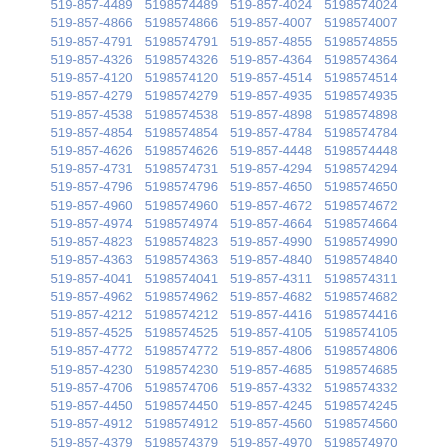| 519-857-4489 | 5198574489 | 519-857-4024 | 5198574024 |
| 519-857-4866 | 5198574866 | 519-857-4007 | 5198574007 |
| 519-857-4791 | 5198574791 | 519-857-4855 | 5198574855 |
| 519-857-4326 | 5198574326 | 519-857-4364 | 5198574364 |
| 519-857-4120 | 5198574120 | 519-857-4514 | 5198574514 |
| 519-857-4279 | 5198574279 | 519-857-4935 | 5198574935 |
| 519-857-4538 | 5198574538 | 519-857-4898 | 5198574898 |
| 519-857-4854 | 5198574854 | 519-857-4784 | 5198574784 |
| 519-857-4626 | 5198574626 | 519-857-4448 | 5198574448 |
| 519-857-4731 | 5198574731 | 519-857-4294 | 5198574294 |
| 519-857-4796 | 5198574796 | 519-857-4650 | 5198574650 |
| 519-857-4960 | 5198574960 | 519-857-4672 | 5198574672 |
| 519-857-4974 | 5198574974 | 519-857-4664 | 5198574664 |
| 519-857-4823 | 5198574823 | 519-857-4990 | 5198574990 |
| 519-857-4363 | 5198574363 | 519-857-4840 | 5198574840 |
| 519-857-4041 | 5198574041 | 519-857-4311 | 5198574311 |
| 519-857-4962 | 5198574962 | 519-857-4682 | 5198574682 |
| 519-857-4212 | 5198574212 | 519-857-4416 | 5198574416 |
| 519-857-4525 | 5198574525 | 519-857-4105 | 5198574105 |
| 519-857-4772 | 5198574772 | 519-857-4806 | 5198574806 |
| 519-857-4230 | 5198574230 | 519-857-4685 | 5198574685 |
| 519-857-4706 | 5198574706 | 519-857-4332 | 5198574332 |
| 519-857-4450 | 5198574450 | 519-857-4245 | 5198574245 |
| 519-857-4912 | 5198574912 | 519-857-4560 | 5198574560 |
| 519-857-4379 | 5198574379 | 519-857-4970 | 5198574970 |